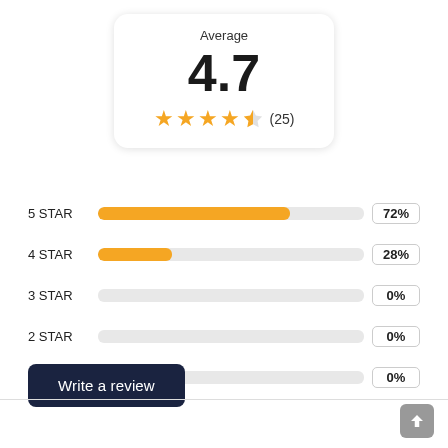Average
4.7
★★★★½ (25)
[Figure (bar-chart): Star rating distribution]
Write a review